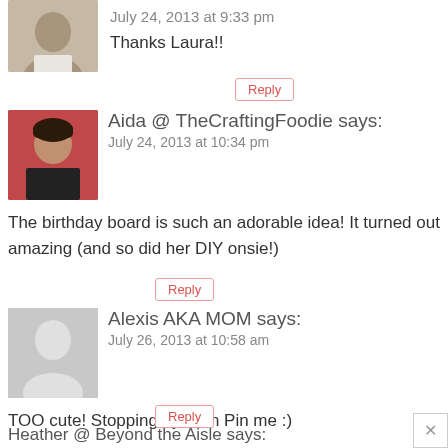July 24, 2013 at 9:33 pm
Thanks Laura!!
Reply
Aida @ TheCraftingFoodie says:
July 24, 2013 at 10:34 pm
The birthday board is such an adorable idea! It turned out amazing (and so did her DIY onsie!)
Reply
Alexis AKA MOM says:
July 26, 2013 at 10:58 am
TOO cute! Stopping by from Pin me :)
Reply
Heather @ Beyond the Aisle says:
July 26, 2013 at 11:51 pm
That little party hat is the cutest thing I've seen all day –